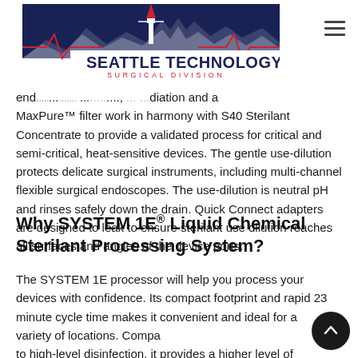[Figure (logo): Seattle Technology Surgical Division logo — dark navy banner with Seattle Space Needle silhouette and mountain range, text 'SEATTLE TECHNOLOGY' in large white bold letters, 'SURGICAL DIVISION' in smaller red spaced letters below]
end... [partially obscured] ...diation and a MaxPure™ filter work in harmony with S40 Sterilant Concentrate to provide a validated process for critical and semi-critical, heat-sensitive devices. The gentle use-dilution protects delicate surgical instruments, including multi-channel flexible surgical endoscopes. The use-dilution is neutral pH and rinses safely down the drain. Quick Connect adapters are designed to leak to ensure sterilant use dilution reaches all surfaces and angles of the device ports.
Why SYSTEM 1E® Liquid Chemical Sterilant Processing System?
The SYSTEM 1E processor will help you process your devices with confidence. Its compact footprint and rapid 23 minute cycle time makes it convenient and ideal for a variety of locations. Compared to high-level disinfection, it provides a higher level of reprocessing